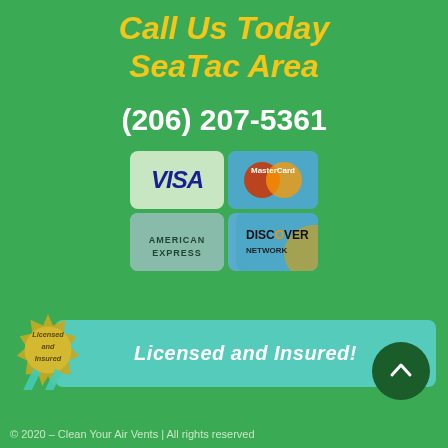Call Us Today SeaTac Area
(206) 207-5361
[Figure (infographic): Payment method logos: Visa, MasterCard, American Express, Discover Network arranged in 2x2 grid]
[Figure (infographic): Licensed and Insured badge with gold seal and teal ribbon banner reading: Licensed and Insured!]
© 2020 – Clean Your Air Vents | All rights reserved